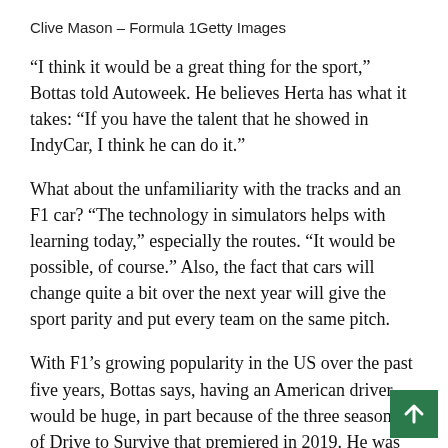Clive Mason – Formula 1Getty Images
“I think it would be a great thing for the sport,” Bottas told Autoweek. He believes Herta has what it takes: “If you have the talent that he showed in IndyCar, I think he can do it.”
What about the unfamiliarity with the tracks and an F1 car? “The technology in simulators helps with learning today,” especially the routes. “It would be possible, of course.” Also, the fact that cars will change quite a bit over the next year will give the sport parity and put every team on the same pitch.
With F1’s growing popularity in the US over the past five years, Bottas says, having an American driver would be huge, in part because of the three seasons of Drive to Survive that premiered in 2019. He was recently on vacation in Colorado, “and thanks to the